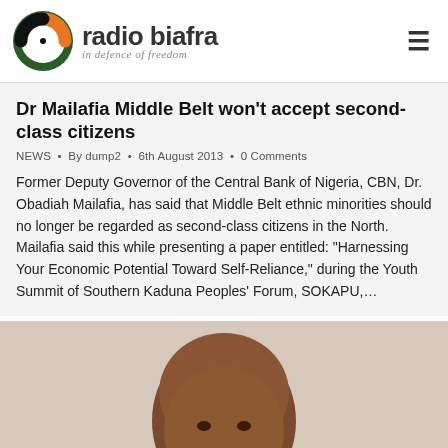radio biafra — in defence of freedom
Dr Mailafia Middle Belt won't accept second-class citizens
NEWS • By dump2 • 6th August 2013 • 0 Comments
Former Deputy Governor of the Central Bank of Nigeria, CBN, Dr. Obadiah Mailafia, has said that Middle Belt ethnic minorities should no longer be regarded as second-class citizens in the North. Mailafia said this while presenting a paper entitled: "Harnessing Your Economic Potential Toward Self-Reliance," during the Youth Summit of Southern Kaduna Peoples' Forum, SOKAPU,...
[Figure (photo): Portrait photo of Dr. Obadiah Mailafia, a man with a shaved head, wearing a dark suit, smiling slightly, cropped at chest level against a light background.]